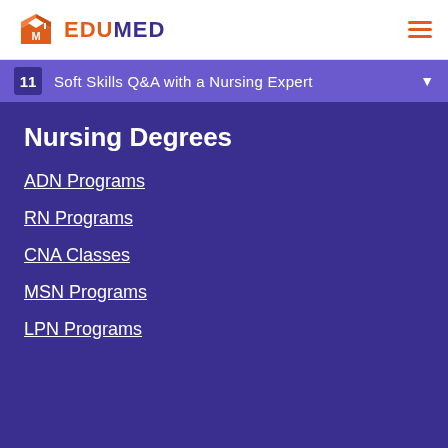EDUMED
11  Soft Skills Q&A with a Nursing Expert
Nursing Degrees
ADN Programs
RN Programs
CNA Classes
MSN Programs
LPN Programs